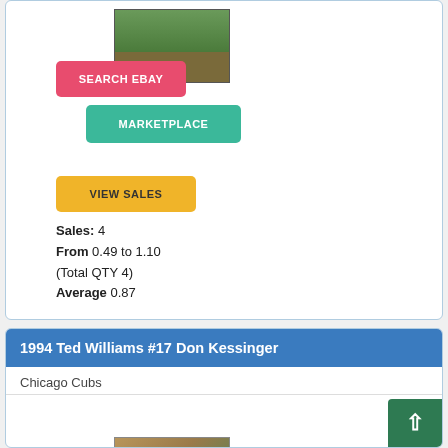[Figure (photo): Baseball player on grass field, partial view at top of card]
SEARCH EBAY
MARKETPLACE
VIEW SALES
Sales: 4
From 0.49 to 1.10
(Total QTY 4)
Average 0.87
1994 Ted Williams #17 Don Kessinger
Chicago Cubs
[Figure (photo): 1994 Ted Williams baseball card showing Don Kessinger in Chicago Cubs uniform]